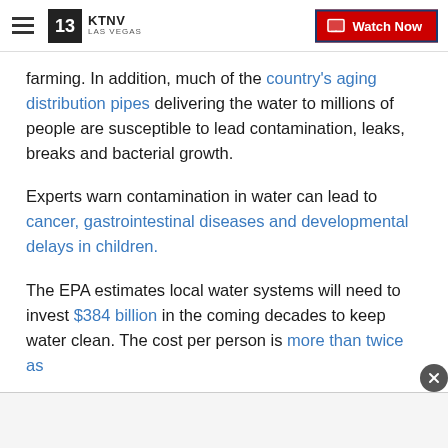KTNV LAS VEGAS | Watch Now
farming. In addition, much of the country's aging distribution pipes delivering the water to millions of people are susceptible to lead contamination, leaks, breaks and bacterial growth.
Experts warn contamination in water can lead to cancer, gastrointestinal diseases and developmental delays in children.
The EPA estimates local water systems will need to invest $384 billion in the coming decades to keep water clean. The cost per person is more than twice as